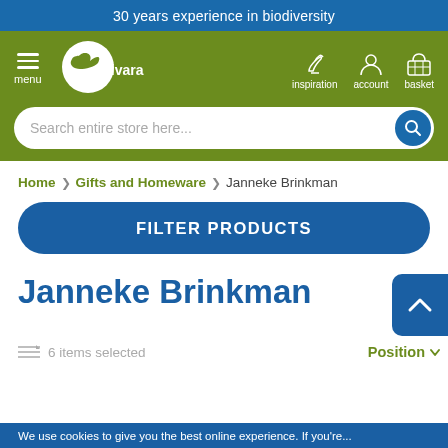30 years experience in biodiversity
[Figure (screenshot): Vivara website navigation bar with logo, menu icon, inspiration, account, basket icons, and search bar]
Home > Gifts and Homeware > Janneke Brinkman
FILTER PRODUCTS
Janneke Brinkman
6 items selected   Position
We use cookies to give you the best online experience. If you're...